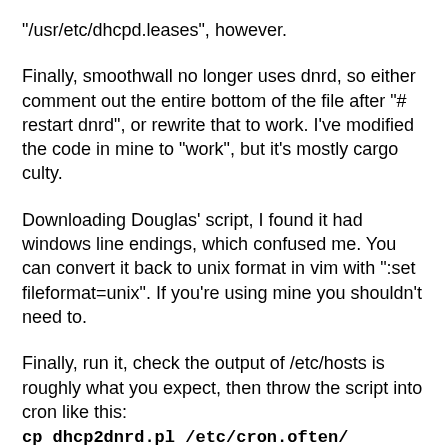"/usr/etc/dhcpd.leases", however.
Finally, smoothwall no longer uses dnrd, so either comment out the entire bottom of the file after "# restart dnrd", or rewrite that to work. I've modified the code in mine to "work", but it's mostly cargo culty.
Downloading Douglas' script, I found it had windows line endings, which confused me. You can convert it back to unix format in vim with ":set fileformat=unix". If you're using mine you shouldn't need to.
Finally, run it, check the output of /etc/hosts is roughly what you expect, then throw the script into cron like this:
cp dhcp2dnrd.pl /etc/cron.often/